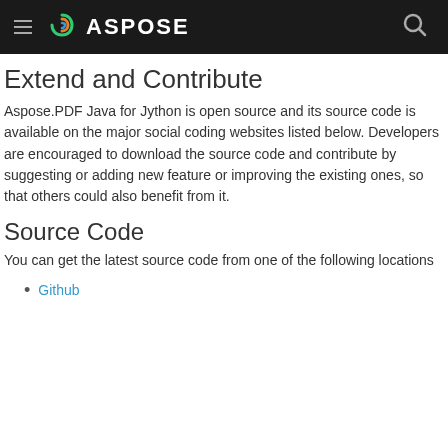ASPOSE
Extend and Contribute
Aspose.PDF Java for Jython is open source and its source code is available on the major social coding websites listed below. Developers are encouraged to download the source code and contribute by suggesting or adding new feature or improving the existing ones, so that others could also benefit from it.
Source Code
You can get the latest source code from one of the following locations
Github